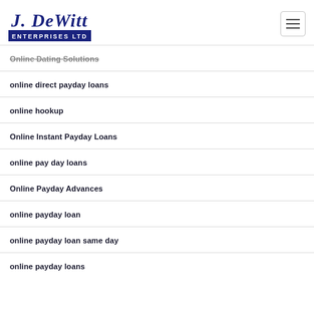J. DeWitt Enterprises Ltd
Online Dating Solutions
online direct payday loans
online hookup
Online Instant Payday Loans
online pay day loans
Online Payday Advances
online payday loan
online payday loan same day
online payday loans